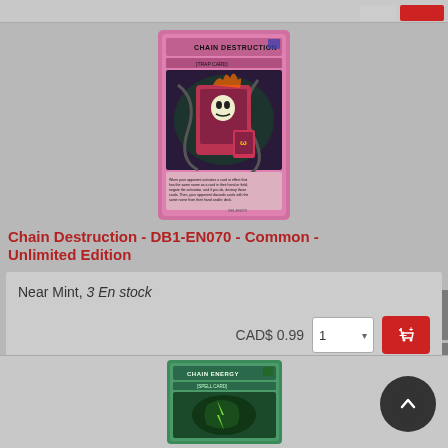[Figure (screenshot): Yu-Gi-Oh trading card: Chain Destruction - Trap Card with pink/purple border, showing a monster destroying cards with chains]
Chain Destruction - DB1-EN070 - Common - Unlimited Edition
Near Mint, 3 En stock
CAD$ 0.99
[Figure (screenshot): Yu-Gi-Oh trading card: Chain Energy - Spell Card with green border, partially visible at bottom of page]